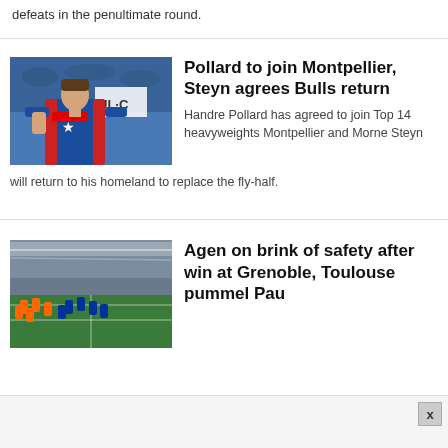defeats in the penultimate round.
Pollard to join Montpellier, Steyn agrees Bulls return
Handre Pollard has agreed to join Top 14 heavyweights Montpellier and Morne Steyn will return to his homeland to replace the fly-half.
[Figure (photo): Handre Pollard in Bulls jersey]
Agen on brink of safety after win at Grenoble, Toulouse pummel Pau
[Figure (photo): Stadium with players in orange and blue jerseys]